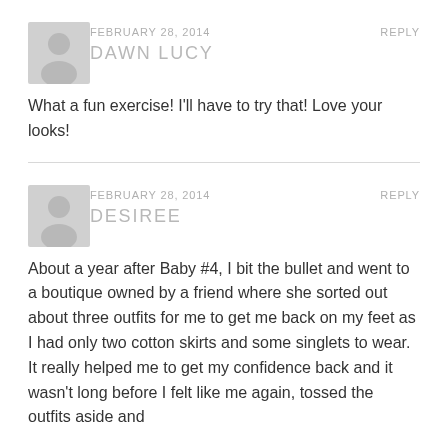FEBRUARY 28, 2014
REPLY
DAWN LUCY
What a fun exercise! I'll have to try that! Love your looks!
FEBRUARY 28, 2014
REPLY
DESIREE
About a year after Baby #4, I bit the bullet and went to a boutique owned by a friend where she sorted out about three outfits for me to get me back on my feet as I had only two cotton skirts and some singlets to wear. It really helped me to get my confidence back and it wasn't long before I felt like me again, tossed the outfits aside and